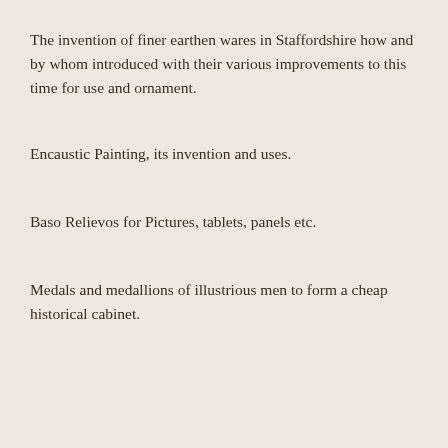The invention of finer earthen wares in Staffordshire how and by whom introduced with their various improvements to this time for use and ornament.
Encaustic Painting, its invention and uses.
Baso Relievos for Pictures, tablets, panels etc.
Medals and medallions of illustrious men to form a cheap historical cabinet.